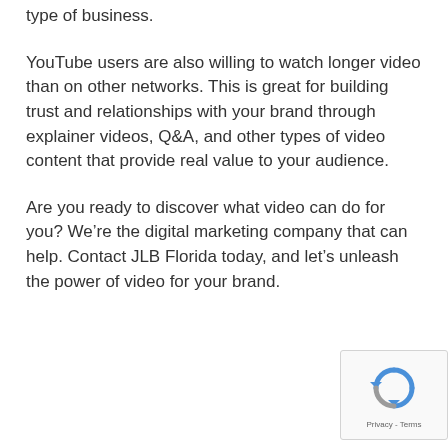type of business.
YouTube users are also willing to watch longer video than on other networks. This is great for building trust and relationships with your brand through explainer videos, Q&A, and other types of video content that provide real value to your audience.
Are you ready to discover what video can do for you? We’re the digital marketing company that can help. Contact JLB Florida today, and let’s unleash the power of video for your brand.
[Figure (logo): reCAPTCHA badge with spinning arrows logo and Privacy - Terms links]